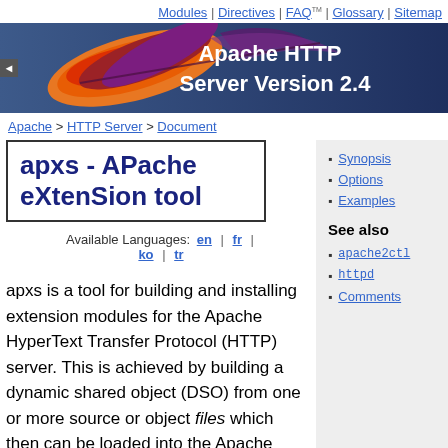Modules | Directives | FAQ | Glossary | Sitemap
[Figure (illustration): Apache HTTP Server banner with feather logo and text 'Apache HTTP Server Version 2.4']
Apache > HTTP Server > Document
apxs - APache eXtenSion tool
Available Languages: en | fr | ko | tr
Synopsis
Options
Examples
See also
apache2ctl
httpd
Comments
apxs is a tool for building and installing extension modules for the Apache HyperText Transfer Protocol (HTTP) server. This is achieved by building a dynamic shared object (DSO) from one or more source or object files which then can be loaded into the Apache server under